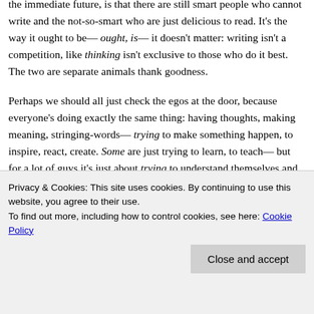the immediate future, is that there are still smart people who cannot write and the not-so-smart who are just delicious to read. It's the way it ought to be— ought, is— it doesn't matter: writing isn't a competition, like thinking isn't exclusive to those who do it best. The two are separate animals thank goodness.
Perhaps we should all just check the egos at the door, because everyone's doing exactly the same thing: having thoughts, making meaning, stringing-words— trying to make something happen, to inspire, react, create. Some are just trying to learn, to teach— but for a lot of guys it's just about trying to understand themselves and the
Privacy & Cookies: This site uses cookies. By continuing to use this website, you agree to their use.
To find out more, including how to control cookies, see here: Cookie Policy
For all the perfectly clipped and presented prose and